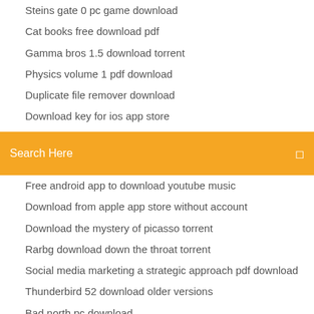Steins gate 0 pc game download
Cat books free download pdf
Gamma bros 1.5 download torrent
Physics volume 1 pdf download
Duplicate file remover download
Download key for ios app store
Download e-hentai without torrent
[Figure (screenshot): Orange search bar with 'Search Here' placeholder text and a small icon on the right]
Free android app to download youtube music
Download from apple app store without account
Download the mystery of picasso torrent
Rarbg download down the throat torrent
Social media marketing a strategic approach pdf download
Thunderbird 52 download older versions
Bad north pc download
Ikea catalog 2018 pdf download
Cara download youtube di chrome pc
Download steam for pc games